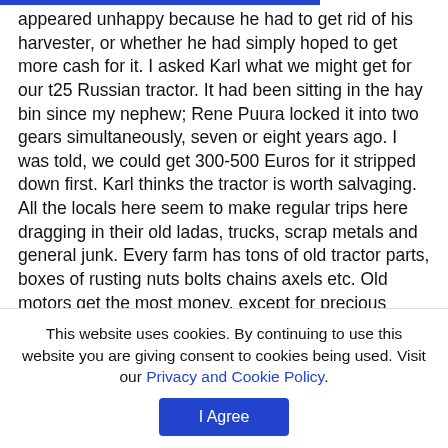appeared unhappy because he had to get rid of his harvester, or whether he had simply hoped to get more cash for it. I asked Karl what we might get for our t25 Russian tractor. It had been sitting in the hay bin since my nephew; Rene Puura locked it into two gears simultaneously, seven or eight years ago. I was told, we could get 300-500 Euros for it stripped down first. Karl thinks the tractor is worth salvaging.
All the locals here seem to make regular trips here dragging in their old ladas, trucks, scrap metals and general junk. Every farm has tons of old tractor parts, boxes of rusting nuts bolts chains axels etc. Old motors get the most money, except for precious metals of course.  For all those who have a hard time getting rid of their junk, like
This website uses cookies. By continuing to use this website you are giving consent to cookies being used. Visit our Privacy and Cookie Policy.